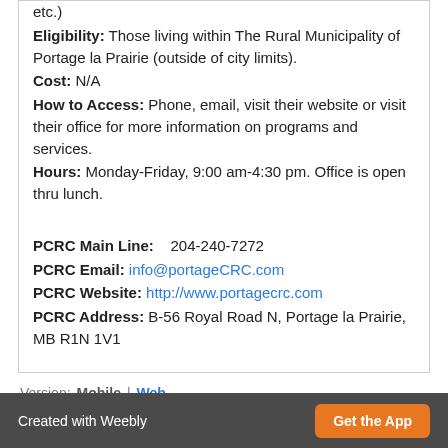etc.) Eligibility: Those living within The Rural Municipality of Portage la Prairie (outside of city limits). Cost: N/A How to Access: Phone, email, visit their website or visit their office for more information on programs and services. Hours: Monday-Friday, 9:00 am-4:30 pm. Office is open thru lunch.
PCRC Main Line: 204-240-7272 PCRC Email: info@portageCRC.com PCRC Website: http://www.portagecrc.com PCRC Address: B-56 Royal Road N, Portage la Prairie, MB R1N 1V1
Version: Mobile | Web
Created with Weebly  Get the App